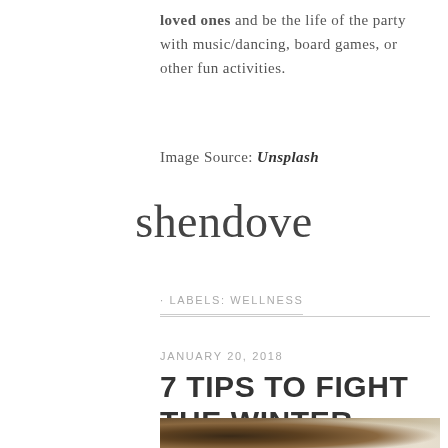loved ones and be the life of the party with music/dancing, board games, or other fun activities.
Image Source: Unsplash
[Figure (illustration): Handwritten cursive signature reading 'shendove']
· LABELS: WELLNESS
JANUARY 20, 2018
7 TIPS TO FIGHT THE WINTER BLUES
[Figure (photo): Photo of a cat or furry animal on light-colored bedding/fabric, partially visible at bottom of page]